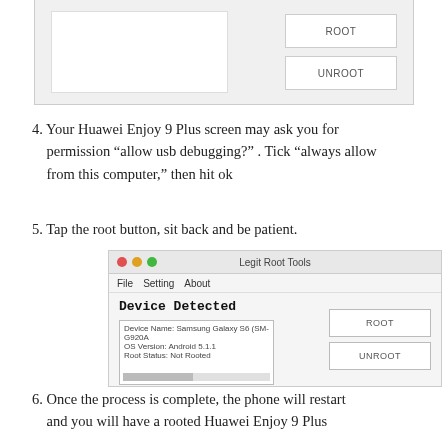[Figure (screenshot): Top portion of Legit Root Tools application window showing a white content box and ROOT/UNROOT buttons on a gray background]
4. Your Huawei Enjoy 9 Plus screen may ask you for permission “allow usb debugging?” . Tick “always allow from this computer,” then hit ok
5. Tap the root button, sit back and be patient.
[Figure (screenshot): Legit Root Tools application window showing 'Device Detected' with device info panel listing Device Name: Samsung Galaxy S6 (SM-G920A), OS Version: Android 5.1.1, Root Status: Not Rooted, and ROOT/UNROOT buttons]
6. Once the process is complete, the phone will restart and you will have a rooted Huawei Enjoy 9 Plus